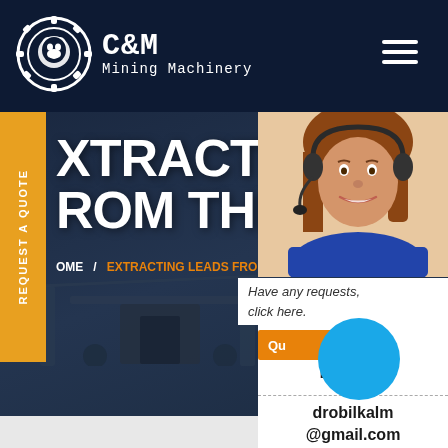[Figure (screenshot): C&M Mining Machinery website screenshot showing navigation header with logo, hero banner with 'EXTRACTING LEADS FROM THE INTERNET' text, yellow sidebar REQUEST A QUOTE tab, customer service agent photo, enquiry panel with blue circle, and email address drobilkalm@gmail.com]
C&M Mining Machinery
XTRACTING LEA
ROM THE INTER
HOME / EXTRACTING LEADS FROM TH
REQUEST A QUOTE
Have any requests, click here.
Qu
Enquiry
drobilkalm@gmail.com